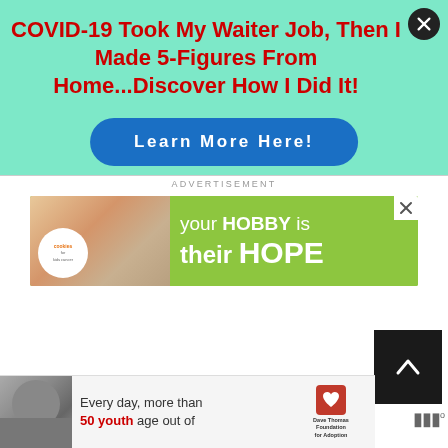[Figure (infographic): Teal/mint colored ad banner with red bold headline and a blue rounded 'Learn More Here!' button]
COVID-19 Took My Waiter Job, Then I Made 5-Figures From Home...Discover How I Did It!
Learn More Here!
ADVERTISEMENT
[Figure (infographic): Green banner advertisement for 'cookies for kids cancer' with text 'your HOBBY is their HOPE' and hands holding a heart-shaped cookie]
[Figure (infographic): Bottom ad showing a person with a beanie hat and text 'Every day, more than 50 youth age out of' with Dave Thomas Foundation for Adoption logo]